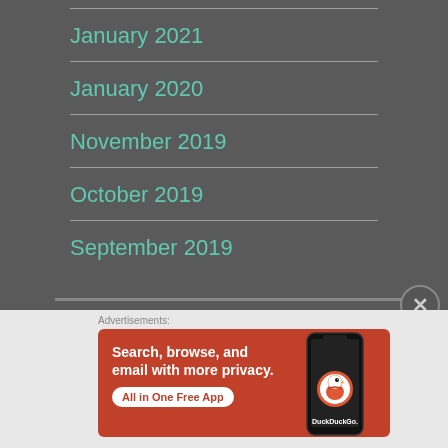January 2021
January 2020
November 2019
October 2019
September 2019
[Figure (screenshot): DuckDuckGo advertisement banner: orange background with text 'Search, browse, and email with more privacy. All in One Free App' and a phone image with DuckDuckGo logo]
Advertisements: